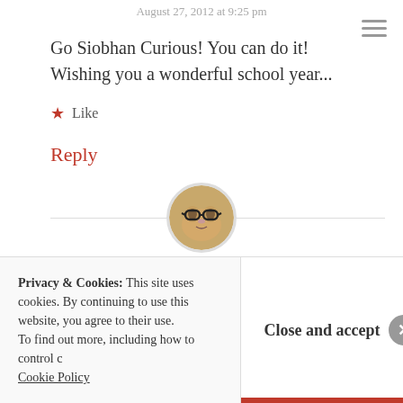August 27, 2012 at 9:25 pm
Go Siobhan Curious! You can do it! Wishing you a wonderful school year...
★ Like
Reply
[Figure (photo): Circular avatar image of a cat wearing glasses]
Siobhan Curious
Privacy & Cookies: This site uses cookies. By continuing to use this website, you agree to their use. To find out more, including how to control cookies, see here: Cookie Policy
Close and accept